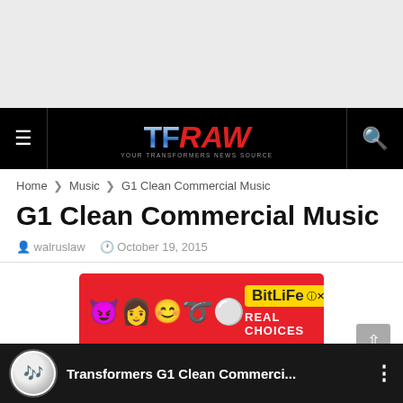[Figure (screenshot): Gray advertisement placeholder banner at top of page]
TF RAW — Navigation bar with menu icon, TFRAW logo, and search icon
Home > Music > G1 Clean Commercial Music
G1 Clean Commercial Music
walruslaw  October 19, 2015
[Figure (screenshot): BitLife advertisement banner — Real Choices, showing emoji characters and BitLife logo on red background]
[Figure (screenshot): Video thumbnail at bottom showing Transformers G1 Clean Commerci... with circular thumbnail and menu dots]